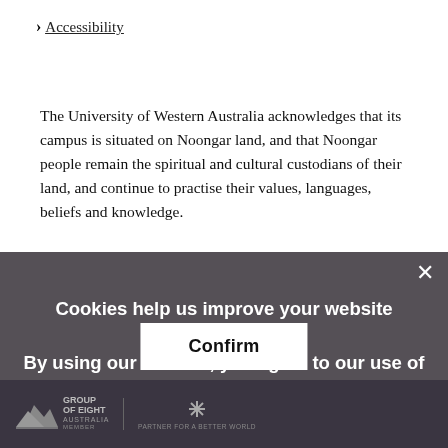Accessibility
The University of Western Australia acknowledges that its campus is situated on Noongar land, and that Noongar people remain the spiritual and cultural custodians of their land, and continue to practise their values, languages, beliefs and knowledge.
Cookies help us improve your website experience.
By using our website, you agree to our use of cookies.
[Figure (logo): Group of Eight Australia logo and partner logo in dark footer bar]
Confirm